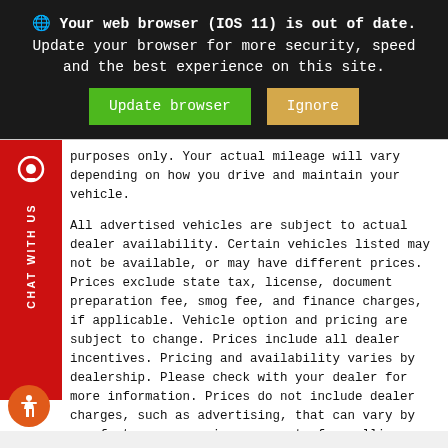Your web browser (IOS 11) is out of date. Update your browser for more security, speed and the best experience on this site.
[Figure (screenshot): Two buttons: green 'Update browser' and tan/orange 'Ignore']
purposes only. Your actual mileage will vary depending on how you drive and maintain your vehicle.
All advertised vehicles are subject to actual dealer availability. Certain vehicles listed may not be available, or may have different prices. Prices exclude state tax, license, document preparation fee, smog fee, and finance charges, if applicable. Vehicle option and pricing are subject to change. Prices include all dealer incentives. Pricing and availability varies by dealership. Please check with your dealer for more information. Prices do not include dealer charges, such as advertising, that can vary by manufacturer or region, or costs for selling, preparing, displaying or financing the vehicle. Images displayed may not be representative of the actual trim level of a vehicle. Colors shown are the most accurate representations available. However, due to the limitations of web and monitor color display, we cannot